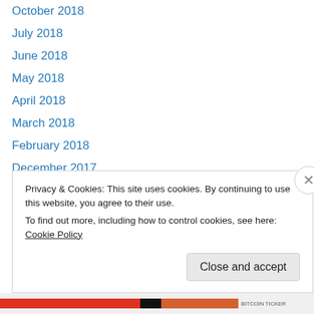October 2018
July 2018
June 2018
May 2018
April 2018
March 2018
February 2018
December 2017
November 2017
October 2017
September 2017
August 2017
May 2017
March 2017
Privacy & Cookies: This site uses cookies. By continuing to use this website, you agree to their use. To find out more, including how to control cookies, see here: Cookie Policy
Close and accept